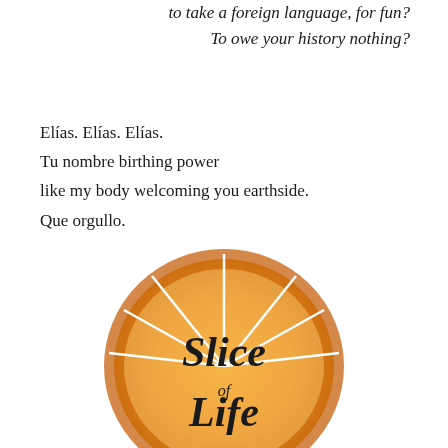to take a foreign language, for fun?
To owe your history nothing?
Elías. Elías. Elías.
Tu nombre birthing power
like my body welcoming you earthside.
Que orgullo.
[Figure (logo): An orange citrus slice (half-circle) with white segment lines, overlaid with the text 'Slice of Life' in black serif/script lettering.]